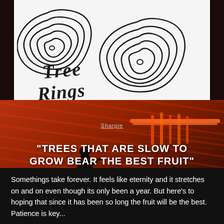[Figure (illustration): Tree Rings logo on white background: hand-drawn wavy concentric ring shapes resembling tree cross-sections, with hand-lettered text 'TREE RINGS' in black on white]
Sharpie
[Figure (photo): Concert venue photo with crowd silhouetted against orange-red stage lights and neon lighting, performer on stage visible]
"TREES THAT ARE SLOW TO GROW BEAR THE BEST FRUIT"
MOLIÈRE
Somethings take forever. It feels like eternity and it stretches on and on even though its only been a year. But here's to hoping that since it has been so long the fruit will be the best. Patience is key...